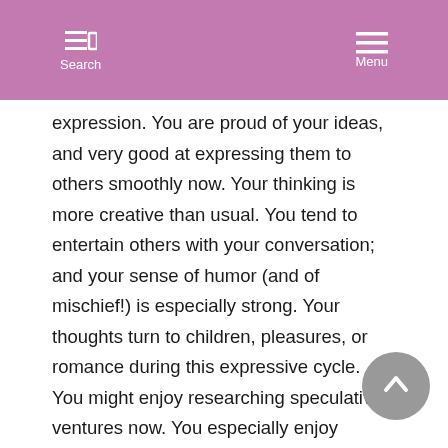Search | Menu
expression. You are proud of your ideas, and very good at expressing them to others smoothly now. Your thinking is more creative than usual. You tend to entertain others with your conversation; and your sense of humor (and of mischief!) is especially strong. Your thoughts turn to children, pleasures, or romance during this expressive cycle. You might enjoy researching speculative ventures now. You especially enjoy games that involve competing with others on a mental level. You have a stronger need than usual for intellectual stimulation. Therefore, your friends and romantic partner are best appreciated now if they are intellectual types. You’re more willing to take risks on a mental level now, so take advantage of the increased spontaneity and creativity that comes with this position.